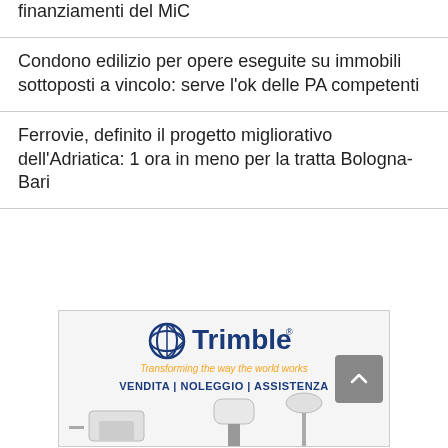finanziamenti del MiC
Condono edilizio per opere eseguite su immobili sottoposti a vincolo: serve l'ok delle PA competenti
Ferrovie, definito il progetto migliorativo dell'Adriatica: 1 ora in meno per la tratta Bologna-Bari
[Figure (illustration): Trimble advertisement with logo, tagline 'Transforming the way the world works', and text 'VENDITA | NOLEGGIO | ASSISTENZA' with surveying equipment imagery]